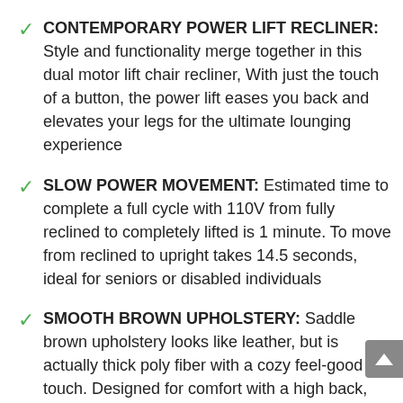CONTEMPORARY POWER LIFT RECLINER: Style and functionality merge together in this dual motor lift chair recliner, With just the touch of a button, the power lift eases you back and elevates your legs for the ultimate lounging experience
SLOW POWER MOVEMENT: Estimated time to complete a full cycle with 110V from fully reclined to completely lifted is 1 minute. To move from reclined to upright takes 14.5 seconds, ideal for seniors or disabled individuals
SMOOTH BROWN UPHOLSTERY: Saddle brown upholstery looks like leather, but is actually thick poly fiber with a cozy feel-good touch. Designed for comfort with a high back, thick cushions and sturdy